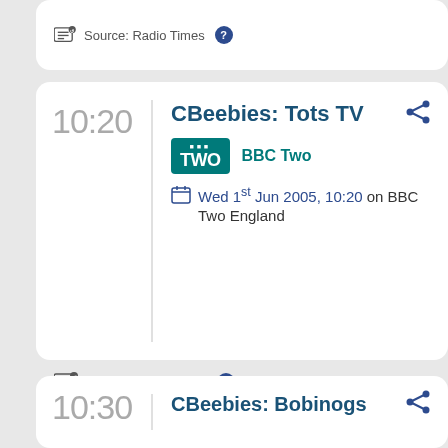Source: Radio Times
10:20
CBeebies: Tots TV
BBC Two
Wed 1st Jun 2005, 10:20 on BBC Two England
Source: Radio Times
10:30
CBeebies: Bobinogs
BBC Two
Wed 1st Jun 2005, 10:30 on BBC